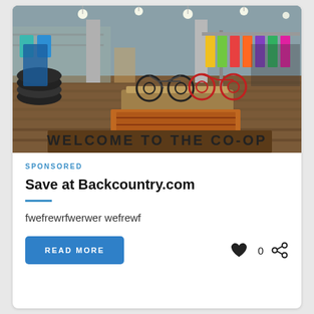[Figure (photo): Interior of a large outdoor/sporting goods retail store (co-op) with bicycles displayed on a wooden platform, colorful clothing racks, concrete pillars, pendant lights, and a floor mat reading 'WELCOME TO THE CO-OP']
SPONSORED
Save at Backcountry.com
fwefrewrfwerwer wefrewf
READ MORE